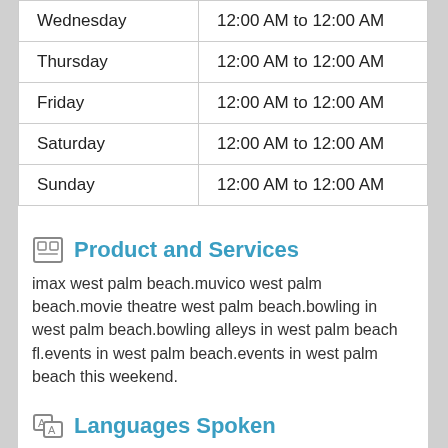| Wednesday | 12:00 AM to 12:00 AM |
| Thursday | 12:00 AM to 12:00 AM |
| Friday | 12:00 AM to 12:00 AM |
| Saturday | 12:00 AM to 12:00 AM |
| Sunday | 12:00 AM to 12:00 AM |
Product and Services
imax west palm beach.muvico west palm beach.movie theatre west palm beach.bowling in west palm beach.bowling alleys in west palm beach fl.events in west palm beach.events in west palm beach this weekend.
Languages Spoken
English
Payment Options
Cash